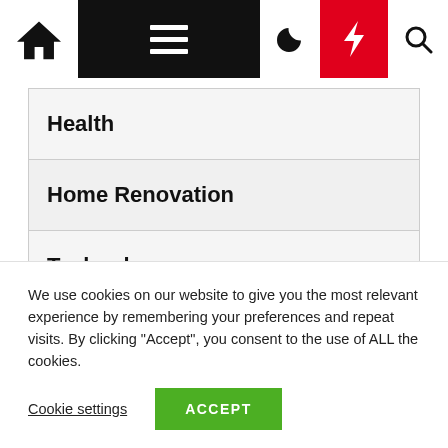Navigation bar with home icon, hamburger menu, moon icon, lightning bolt, and search icon
Health
Home Renovation
Technology
Travel And Hotel
We use cookies on our website to give you the most relevant experience by remembering your preferences and repeat visits. By clicking "Accept", you consent to the use of ALL the cookies.
Cookie settings   ACCEPT